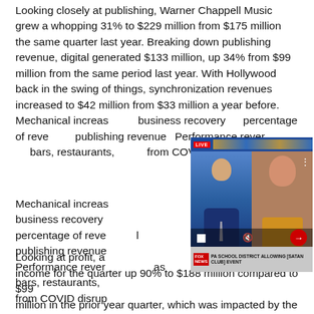Looking closely at publishing, Warner Chappell Music grew a whopping 31% to $229 million from $175 million the same quarter last year. Breaking down publishing revenue, digital generated $133 million, up 34% from $99 million from the same period last year. With Hollywood back in the swing of things, synchronization revenues increased to $42 million from $33 million a year before. Mechanical increased as business recovery percentage of revenue publishing revenue Performance revenues as bars, restaurants, from COVID disruption
[Figure (screenshot): Embedded news video overlay showing two people (a news anchor and an interview subject), with a 'Top Articles' bar, LIVE badge, pause/mute controls, next button, and a news ticker reading 'PA SCHOOL DISTRICT ALLOWING [SATAN CLUB] EVENT']
Looking at profit, a income for the quarter up 90% to $188 million compared to $99 million in the prior year quarter, which was impacted by the